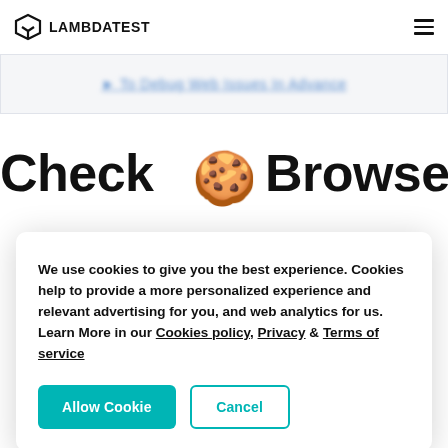LAMBDATEST
[Figure (screenshot): Blurred/partially visible blue hyperlink text on a light gray background bar]
CheckBrowser
[Figure (illustration): Cookie emoji (🍪) centered over the page title]
We use cookies to give you the best experience. Cookies help to provide a more personalized experience and relevant advertising for you, and web analytics for us. Learn More in our Cookies policy, Privacy & Terms of service
Allow Cookie   Cancel
you to instantly spin your website on